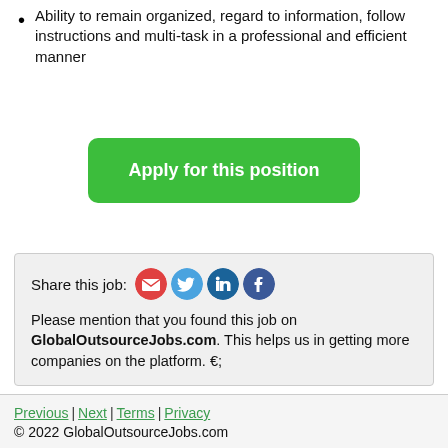Ability to remain organized, regard to information, follow instructions and multi-task in a professional and efficient manner
Apply for this position
Share this job: [email icon] [twitter icon] [linkedin icon] [facebook icon]

Please mention that you found this job on GlobalOutsourceJobs.com. This helps us in getting more companies on the platform. 🙂
Previous | Next | Terms | Privacy
© 2022 GlobalOutsourceJobs.com